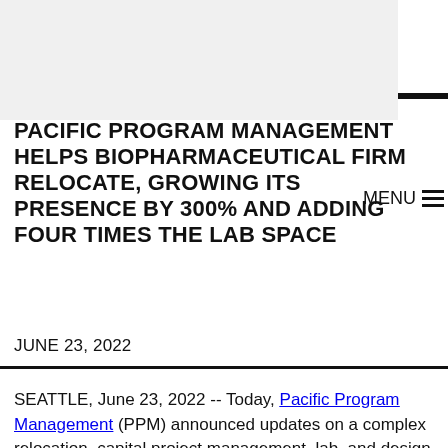[Figure (photo): Gray banner/header image area at top of page]
PACIFIC PROGRAM MANAGEMENT HELPS BIOPHARMACEUTICAL FIRM RELOCATE, GROWING ITS PRESENCE BY 300% AND ADDING FOUR TIMES THE LAB SPACE
JUNE 23, 2022
SEATTLE, June 23, 2022 -- Today, Pacific Program Management (PPM) announced updates on a complex relocation, capital project management, lab, and design project for a publicly-traded biopharmaceutical firm in the